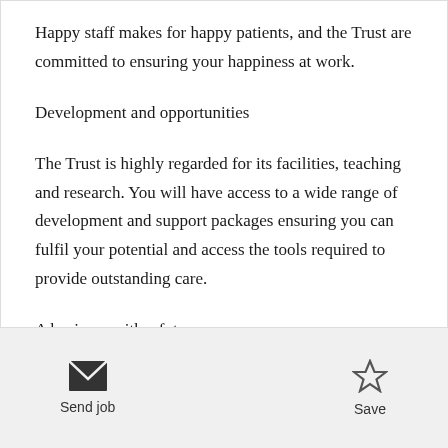Happy staff makes for happy patients, and the Trust are committed to ensuring your happiness at work.
Development and opportunities
The Trust is highly regarded for its facilities, teaching and research. You will have access to a wide range of development and support packages ensuring you can fulfil your potential and access the tools required to provide outstanding care.
A business with a future
Send job   Save